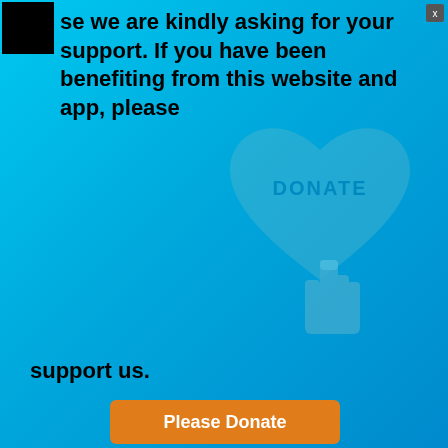se we are kindly asking for your support. If you have been benefiting from this website and app, please
[Figure (illustration): Heart shape with DONATE text and cursor/hand icon, blue tinted]
support us.
Please Donate
[Figure (screenshot): Partially visible document showing course programs listing]
Advertisements
[Figure (logo): Jetpack advertisement banner: Jetpack logo on green background with 'Back up your site' button]